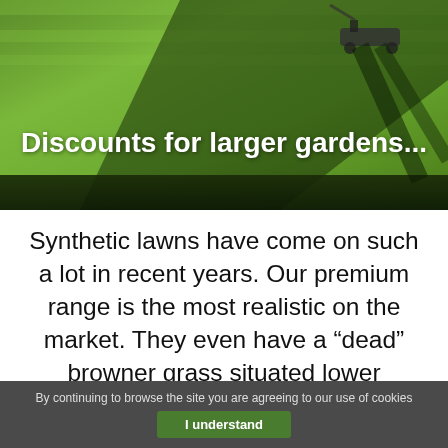[Figure (photo): Aerial view of a closely mown green synthetic/artificial grass lawn with shadows visible, showing a lawnmower in the upper right area. Overlaid white bold text reads 'Discounts for larger gardens...']
Synthetic lawns have come on such a lot in recent years. Our premium range is the most realistic on the market. They even have a “dead” browner grass situated lower throughout the weave, and feel precisely like top end premium turf, but with all of the advantages as above.
By continuing to browse the site you are agreeing to our use of cookies  I understand